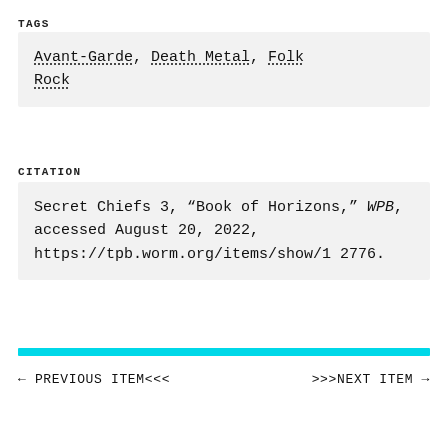TAGS
Avant-Garde, Death Metal, Folk Rock
CITATION
Secret Chiefs 3, “Book of Horizons,” WPB, accessed August 20, 2022, https://tpb.worm.org/items/show/12776.
← PREVIOUS ITEM<<<        >>>NEXT ITEM →